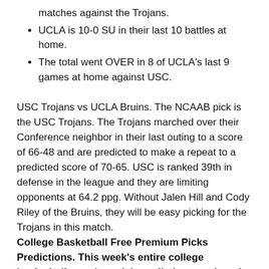matches against the Trojans.
UCLA is 10-0 SU in their last 10 battles at home.
The total went OVER in 8 of UCLA's last 9 games at home against USC.
USC Trojans vs UCLA Bruins. The NCAAB pick is the USC Trojans. The Trojans marched over their Conference neighbor in their last outing to a score of 66-48 and are predicted to make a repeat to a predicted score of 70-65. USC is ranked 39th in defense in the league and they are limiting opponents at 64.2 ppg. Without Jalen Hill and Cody Riley of the Bruins, they will be easy picking for the Trojans in this match.
College Basketball Free Premium Picks Predictions. This week's entire college basketball premium pick predictions against the spread are free right now at 1-888-711-4311 or text the word WINBIG to 760-670-3130 to receive them. Included are Best Bets, Parlays and Halftime winners for this week free of charge.